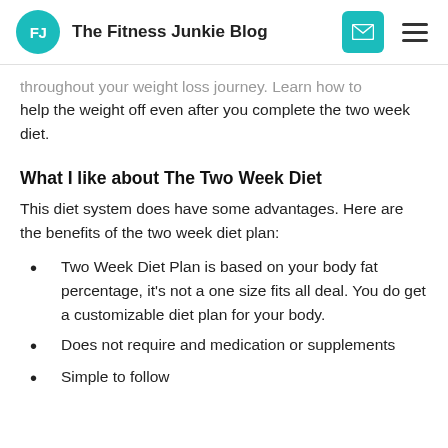FJ The Fitness Junkie Blog
throughout your weight loss journey. Learn how to help the weight off even after you complete the two week diet.
What I like about The Two Week Diet
This diet system does have some advantages. Here are the benefits of the two week diet plan:
Two Week Diet Plan is based on your body fat percentage, it's not a one size fits all deal. You do get a customizable diet plan for your body.
Does not require and medication or supplements
Simple to follow